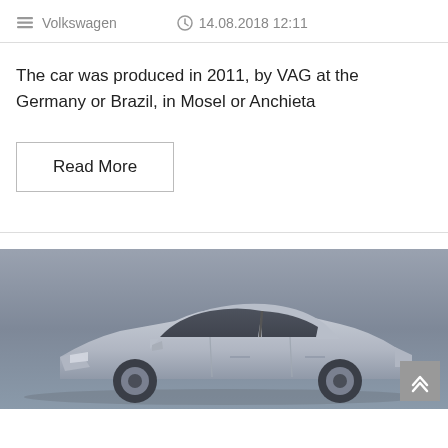Volkswagen   14.08.2018 12:11
The car was produced in 2011, by VAG at the Germany or Brazil, in Mosel or Anchieta
Read More
[Figure (photo): Photograph of a silver Volkswagen sedan car, side profile view, against a grey gradient background]